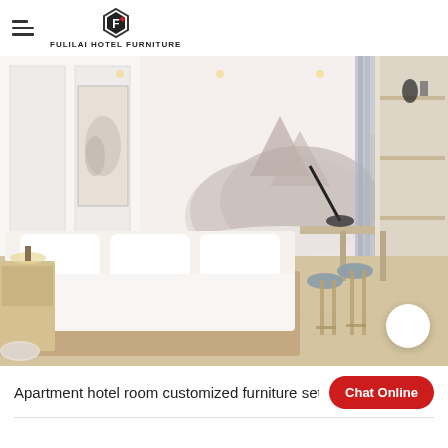FULILAI HOTEL FURNITURE
[Figure (photo): Hotel room interior showing a neatly made double bed with white linens, wooden flooring, a large Japanese-style ink-wash mural on the wall, sheer blue-grey curtains, a wooden desk and bar stools on the right, and shelving unit on the far right. A circular white button/icon appears in the lower-right corner of the image.]
Apartment hotel room customized furniture set C
Chat Online